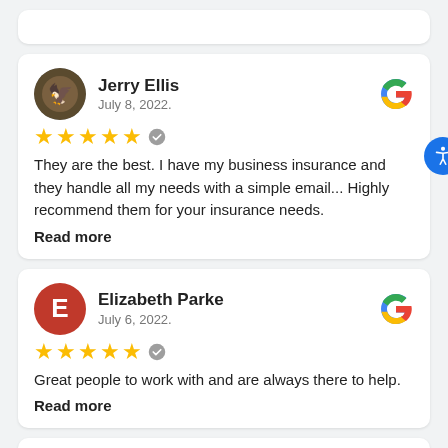Jerry Ellis — July 8, 2022. ★★★★★ They are the best. I have my business insurance and they handle all my needs with a simple email... Highly recommend them for your insurance needs. Read more
Elizabeth Parke — July 6, 2022. ★★★★★ Great people to work with and are always there to help. Read more
Ray Shulda — July 6, 2022.